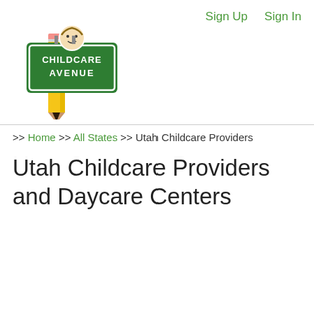[Figure (logo): Childcare Avenue logo: a green street sign reading CHILDCARE AVENUE with a cartoon child face on top, mounted on a yellow pencil]
Sign Up   Sign In
>> Home >> All States >> Utah Childcare Providers
Utah Childcare Providers and Daycare Centers